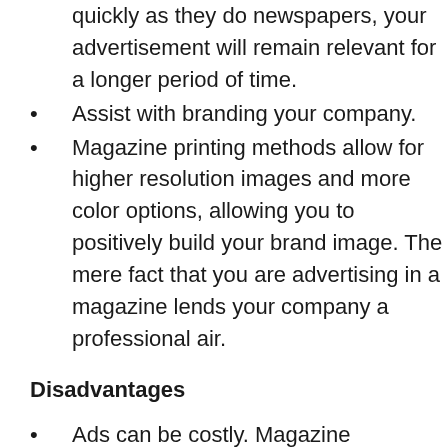quickly as they do newspapers, your advertisement will remain relevant for a longer period of time.
Assist with branding your company.
Magazine printing methods allow for higher resolution images and more color options, allowing you to positively build your brand image. The mere fact that you are advertising in a magazine lends your company a professional air.
Disadvantages
Ads can be costly. Magazine advertising is typically more expensive than newspaper advertising.
Scheduling is difficult.